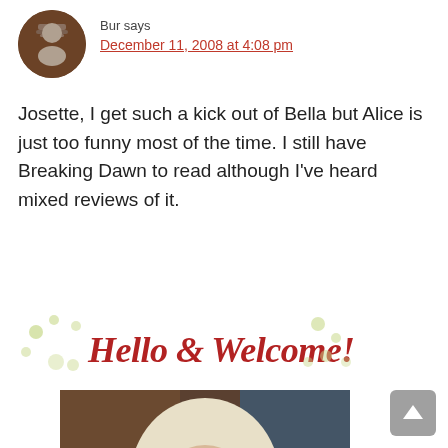[Figure (illustration): Circular avatar icon with brown background showing a generic user silhouette icon in grey/white]
Bur says
December 11, 2008 at 4:08 pm
Josette, I get such a kick out of Bella but Alice is just too funny most of the time. I still have Breaking Dawn to read although I've heard mixed reviews of it.
[Figure (illustration): Hello & Welcome! decorative script text in dark red with green dot decorations on either side]
[Figure (photo): Photo of a woman with long blonde/white hair wearing glasses, partial head and shoulders view]